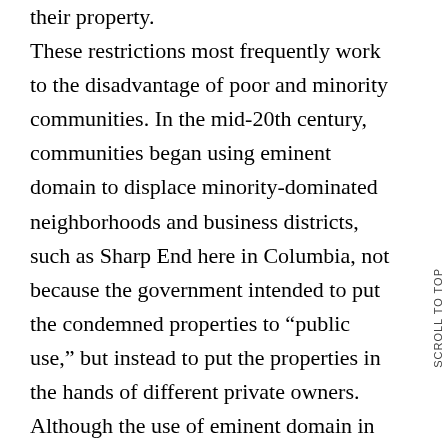their property. These restrictions most frequently work to the disadvantage of poor and minority communities. In the mid-20th century, communities began using eminent domain to displace minority-dominated neighborhoods and business districts, such as Sharp End here in Columbia, not because the government intended to put the condemned properties to “public use,” but instead to put the properties in the hands of different private owners. Although the use of eminent domain in Missouri has not been as blatantly racist in recent years, communities still frequently see it as a tool to remove poorer residents or businesses and replace them with a “better class” of citizen. But even relatively affluent communities are increasingly willing to restrict property rights as a way